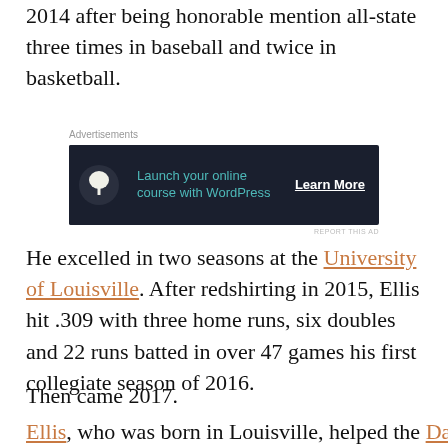2014 after being honorable mention all-state three times in baseball and twice in basketball.
[Figure (other): Advertisement banner for WordPress online course with dark background, tree icon, teal text 'Launch your online course with WordPress' and 'Learn More' button]
He excelled in two seasons at the University of Louisville. After redshirting in 2015, Ellis hit .309 with three home runs, six doubles and 22 runs batted in over 47 games his first collegiate season of 2016.
Then came 2017.
Ellis, who was born in Louisville, helped the Dan McDonnell-
[Figure (other): Ulta Beauty advertisement banner with makeup-themed images and SHOP NOW button]